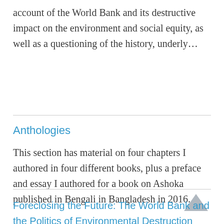account of the World Bank and its destructive impact on the environment and social equity, as well as a questioning of the history, underly...
Anthologies
This section has material on four chapters I authored in four different books, plus a preface and essay I authored for a book on Ashoka published in Bengali in Bangladesh in 2016.
Foreclosing the Future: The World Bank and the Politics of Environmental Destruction